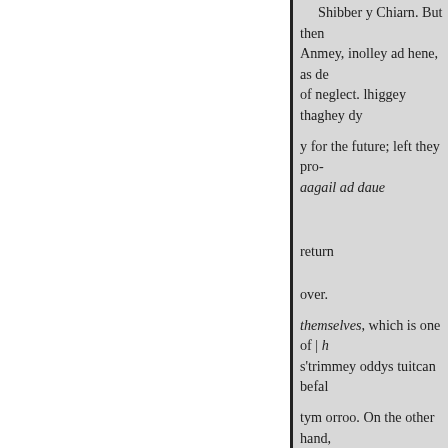Shibber y Chiarn. But then Anmey, inolley ad hene, as de of neglect. lhiggey thaghey dy y for the future; left they pro- aagail ad daue return over. themselves, which is one of | h s'trimmey oddys tuitcan befal tym orroo. On the other hand, y not any well-meaning Chris ny choyrt ass Cree lesh Agof Supper, and so feeu gys Shibber y Chiarn, as forbea and Change kyndagh nagh ve Caghhoped for; but let them h agh lhig daue Holiness and P